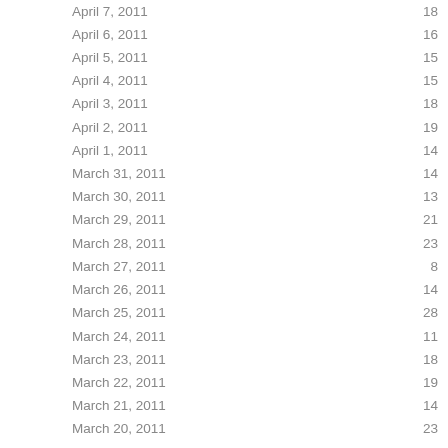| Date | Value |
| --- | --- |
| April 7, 2011 | 18 |
| April 6, 2011 | 16 |
| April 5, 2011 | 15 |
| April 4, 2011 | 15 |
| April 3, 2011 | 18 |
| April 2, 2011 | 19 |
| April 1, 2011 | 14 |
| March 31, 2011 | 14 |
| March 30, 2011 | 13 |
| March 29, 2011 | 21 |
| March 28, 2011 | 23 |
| March 27, 2011 | 8 |
| March 26, 2011 | 14 |
| March 25, 2011 | 28 |
| March 24, 2011 | 11 |
| March 23, 2011 | 18 |
| March 22, 2011 | 19 |
| March 21, 2011 | 14 |
| March 20, 2011 | 23 |
| March 19, 2011 | 13 |
| March 18, 2011 | 13 |
| March 17, 2011 | 11 |
| March 16, 2011 | 15 |
| March 15, 2011 | 10 |